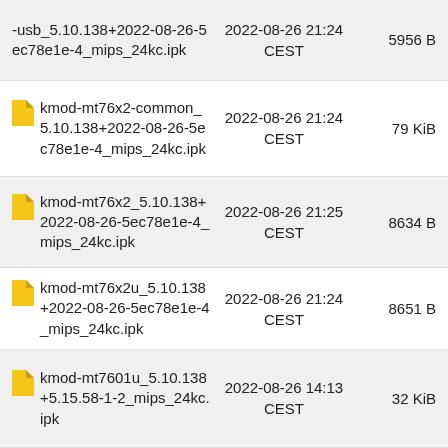-usb_5.10.138+2022-08-26-5ec78e1e-4_mips_24kc.ipk | 2022-08-26 21:24 CEST | 5956 B
kmod-mt76x2-common_5.10.138+2022-08-26-5ec78e1e-4_mips_24kc.ipk | 2022-08-26 21:24 CEST | 79 KiB
kmod-mt76x2_5.10.138+2022-08-26-5ec78e1e-4_mips_24kc.ipk | 2022-08-26 21:25 CEST | 8634 B
kmod-mt76x2u_5.10.138+2022-08-26-5ec78e1e-4_mips_24kc.ipk | 2022-08-26 21:24 CEST | 8651 B
kmod-mt7601u_5.10.138+5.15.58-1-2_mips_24kc.ipk | 2022-08-26 14:13 CEST | 32 KiB